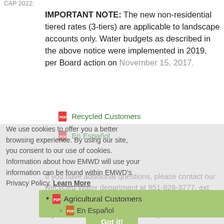CAP 2022
IMPORTANT NOTE: The new non-residential tiered rates (3-tiers) are applicable to landscape accounts only. Water budgets as described in the above notice were implemented in 2019, per Board action on November 15, 2017.
Recycled Customers
En Español
We use cookies to offer you a better browsing experience. By using our site, you consent to our use of cookies. Information about how EMWD will use your information can be found within EMWD's Privacy Policy. Learn More
If you have additional questions, please contact our Recycled Water department at 951-928-3777, ext 4412.
Agricultural Customers
En Español
If you have additional questions, please